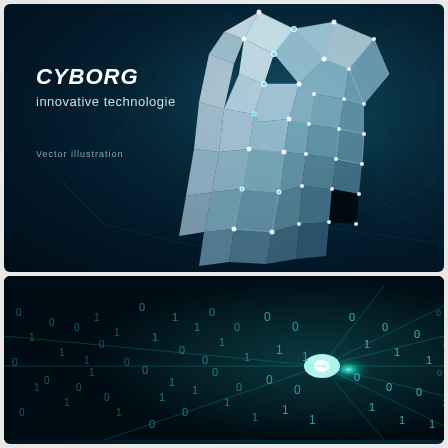[Figure (illustration): Dark teal background with a low-poly geometric cyborg/human figure made of white and cyan triangular facets with connected node points and network lines. Text overlay: CYBORG innovative technologie, Vector illustration.]
[Figure (illustration): Dark background with glowing cyan light source on the right and scattered binary digits (0s and 1s) floating across the image, creating a digital data stream effect.]